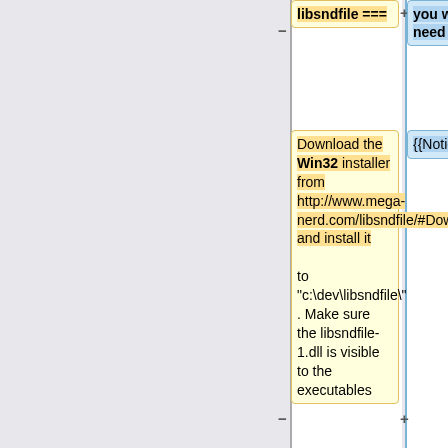− libsndfile ===
+ you will need ==
Download the Win32 installer from http://www.mega-nerd.com/libsndfile/#Download and install it
{{Notice|message=
− to "c:\dev\libsndfile\" . Make sure the libsndfile-1.dll is visible to the executables
+